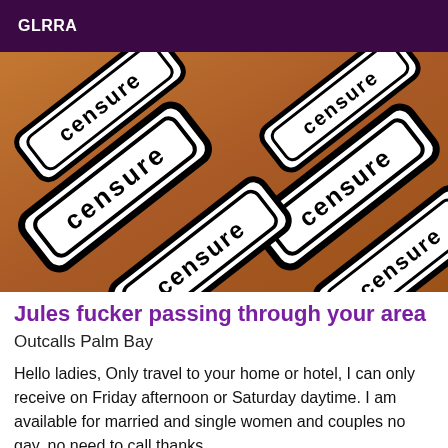GLRRA
[Figure (photo): Multiple white censored signs with black text reading 'censure' arranged at various angles over a warm orange/brown background]
Jules fucker passing through your area
Outcalls Palm Bay
Hello ladies, Only travel to your home or hotel, I can only receive on Friday afternoon or Saturday daytime. I am available for married and single women and couples no gay, no need to call thanks